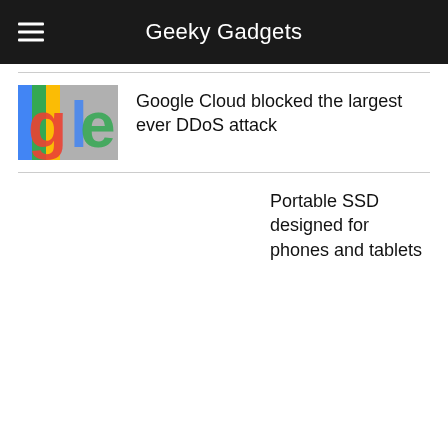Geeky Gadgets
[Figure (photo): Google logo colorful letters sign photo]
Google Cloud blocked the largest ever DDoS attack
Portable SSD designed for phones and tablets
[Figure (photo): Dark moody portrait of Wednesday Addams character from Netflix series]
New Netflix Addams Family Wednesday TV series trailer